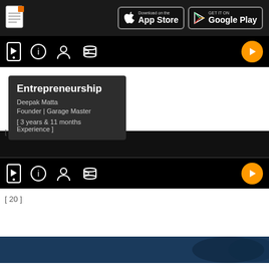[Figure (screenshot): App header bar with document icon on left and App Store and Google Play download buttons on right, dark background]
[Figure (screenshot): Navigation bar with mobile/info/person/settings icons and orange play button, dark background]
[Figure (screenshot): Card showing Entrepreneurship course by Deepak Matta, Founder | Garage Master, with experience info]
[ 19 ]
[ 3 years & 11 months Experience ]
[Figure (screenshot): Second navigation bar with mobile/info/person/settings icons and orange play button, dark background]
[ 20 ]
[Figure (screenshot): Bottom blue image bar, partially visible]